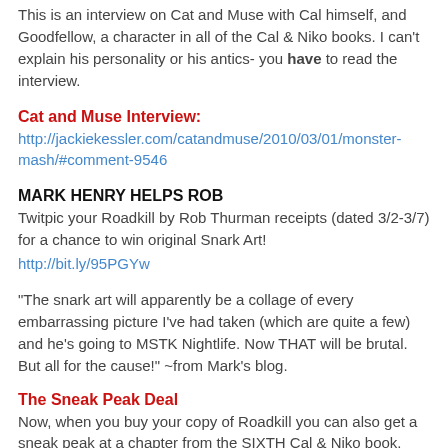This is an interview on Cat and Muse with Cal himself, and Goodfellow, a character in all of the Cal & Niko books. I can't explain his personality or his antics- you have to read the interview.
Cat and Muse Interview:
http://jackiekessler.com/catandmuse/2010/03/01/monster-mash/#comment-9546
MARK HENRY HELPS ROB
Twitpic your Roadkill by Rob Thurman receipts (dated 3/2-3/7) for a chance to win original Snark Art!
http://bit.ly/95PGYw
"The snark art will apparently be a collage of every embarrassing picture I've had taken (which are quite a few) and he's going to MSTK Nightlife. Now THAT will be brutal. But all for the cause!" ~from Mark's blog.
The Sneak Peak Deal
Now, when you buy your copy of Roadkill you can also get a sneak peak at a chapter from the SIXTH Cal & Niko book.